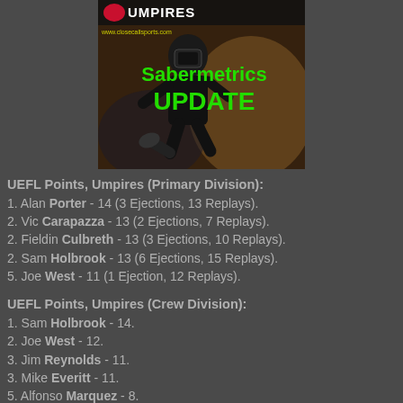[Figure (photo): Baseball umpire in action with 'UMPIRES' text header, 'www.closecallsports.com' URL, and green text reading 'Sabermetrics UPDATE']
UEFL Points, Umpires (Primary Division):
1. Alan Porter - 14 (3 Ejections, 13 Replays).
2. Vic Carapazza - 13 (2 Ejections, 7 Replays).
2. Fieldin Culbreth - 13 (3 Ejections, 10 Replays).
2. Sam Holbrook - 13 (6 Ejections, 15 Replays).
5. Joe West - 11 (1 Ejection, 12 Replays).
UEFL Points, Umpires (Crew Division):
1. Sam Holbrook - 14.
2. Joe West - 12.
3. Jim Reynolds - 11.
3. Mike Everitt - 11.
5. Alfonso Marquez - 8.
5. Larry Vanover - 8.